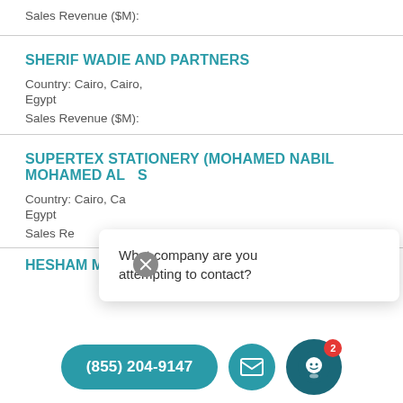Sales Revenue ($M):
SHERIF WADIE AND PARTNERS
Country: Cairo, Cairo,
Egypt
Sales Revenue ($M):
SUPERTEX STATIONERY (MOHAMED NABIL MOHAMED AL...
Country: Cairo, Ca...
Egypt
Sales Re...
What company are you attempting to contact?
(855) 204-9147
HESHAM MOHAMED SAYED MOHAMED ALI